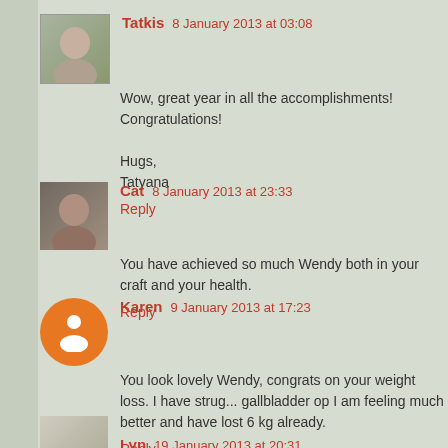Tatkis  8 January 2013 at 03:08
Wow, great year in all the accomplishments! Congratulations!

Hugs,
Tatyana
Reply
Cat  8 January 2013 at 23:33
You have achieved so much Wendy both in your craft and your health.
Reply
Karen  9 January 2013 at 17:23
You look lovely Wendy, congrats on your weight loss. I have strug... gallbladder op I am feeling much better and have lost 6 kg already.
Reply
Lyn  19 January 2013 at 20:31